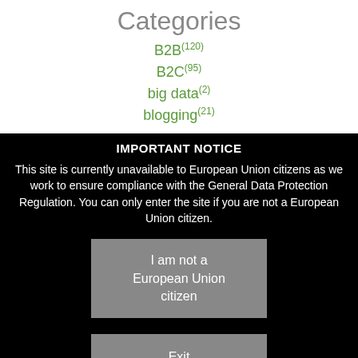Categories
B2B(120)
B2C(95)
big data(2)
blogging(21)
IMPORTANT NOTICE
This site is currently unavailable to European Union citizens as we work to ensure compliance with the General Data Protection Regulation. You can only enter the site if you are not a European Union citizen.
I am not a European Union citizen
Exit